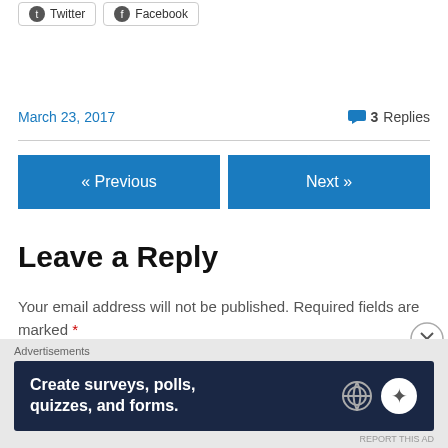[Figure (screenshot): Social share buttons for Twitter and Facebook]
March 23, 2017
3 Replies
« Previous
Next »
Leave a Reply
Your email address will not be published. Required fields are marked *
[Figure (screenshot): Advertisements banner: Create surveys, polls, quizzes, and forms.]